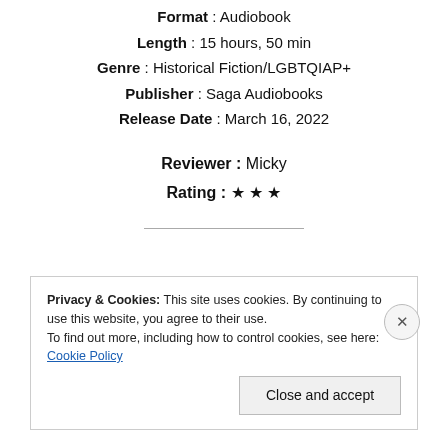Format : Audiobook
Length : 15 hours, 50 min
Genre : Historical Fiction/LGBTQIAP+
Publisher : Saga Audiobooks
Release Date : March 16, 2022
Reviewer : Micky
Rating : ★ ★ ★
Privacy & Cookies: This site uses cookies. By continuing to use this website, you agree to their use.
To find out more, including how to control cookies, see here: Cookie Policy